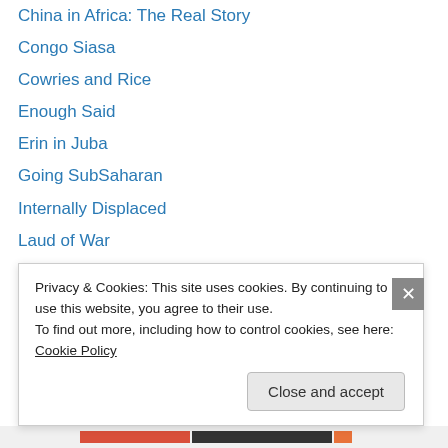China in Africa: The Real Story
Congo Siasa
Cowries and Rice
Enough Said
Erin in Juba
Going SubSaharan
Internally Displaced
Laud of War
Opalo's Weblog
PaanLuel Wël
Peter Tinti
Rachel Strohm
Roving Bandit
Privacy & Cookies: This site uses cookies. By continuing to use this website, you agree to their use. To find out more, including how to control cookies, see here: Cookie Policy
Close and accept